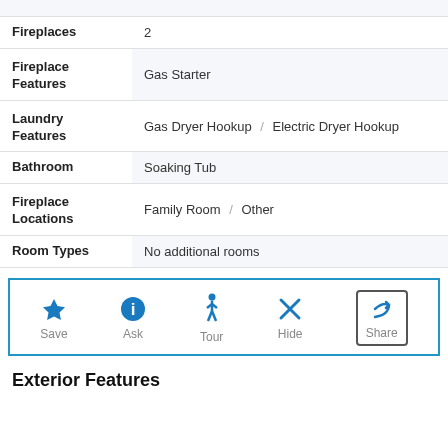| Property | Value |
| --- | --- |
| Fireplaces | 2 |
| Fireplace Features | Gas Starter |
| Laundry Features | Gas Dryer Hookup / Electric Dryer Hookup |
| Bathroom | Soaking Tub |
| Fireplace Locations | Family Room / Other |
| Room Types | No additional rooms |
[Figure (infographic): Action bar with icons for Save (star), Ask (info), Tour (person walking), Hide (X), Share (arrow). Share icon is enclosed in a box border.]
Exterior Features